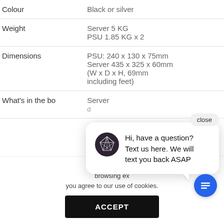| Property | Value |
| --- | --- |
| Colour | Black or silver |
| Weight | Server 5 KG
PSU 1.85 KG x 2 |
| Dimensions | PSU: 240 x 130 x 75mm
Server 435 x 325 x 60mm
(W x D x H, 69mm including feet) |
| What's in the bo[x] | Server |
|  | d |
This site u[ses cookies to improve your] browsing ex[perience. By continuing,] you agree to our use of cookies.
[Figure (screenshot): Chat popup widget with logo avatar and message: Hi, have a question? Text us here. We will text you back ASAP. With a close button and blue chat FAB button.]